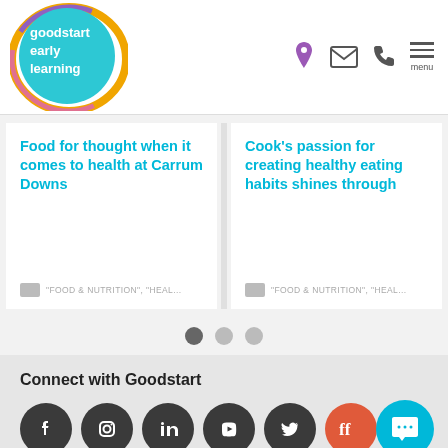[Figure (logo): Goodstart Early Learning logo - circular design with teal, pink, orange and purple swirls]
Food for thought when it comes to health at Carrum Downs
"FOOD & NUTRITION", "HEAL...
Cook's passion for creating healthy eating habits shines through
"FOOD & NUTRITION", "HEAL...
Connect with Goodstart